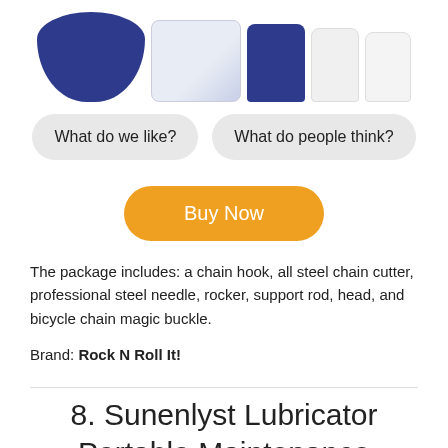[Figure (photo): Product images showing a blue jar, a clear bottle with warning label, a blue cap bottle, and two white bottles]
What do we like?
What do people think?
Buy Now
The package includes: a chain hook, all steel chain cutter, professional steel needle, rocker, support rod, head, and bicycle chain magic buckle.
Brand: Rock N Roll It!
8. Sunenlyst Lubricator Portable Maintenance Mountain